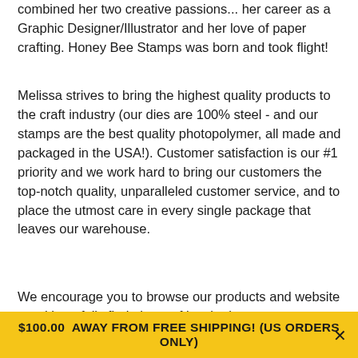combined her two creative passions... her career as a Graphic Designer/Illustrator and her love of paper crafting. Honey Bee Stamps was born and took flight!
Melissa strives to bring the highest quality products to the craft industry (our dies are 100% steel - and our stamps are the best quality photopolymer, all made and packaged in the USA!). Customer satisfaction is our #1 priority and we work hard to bring our customers the top-notch quality, unparalleled customer service, and to place the utmost care in every single package that leaves our warehouse.
We encourage you to browse our products and website - and hopefully find plenty of inspiration
$100.00  AWAY FROM FREE SHIPPING! (US ORDERS ONLY)